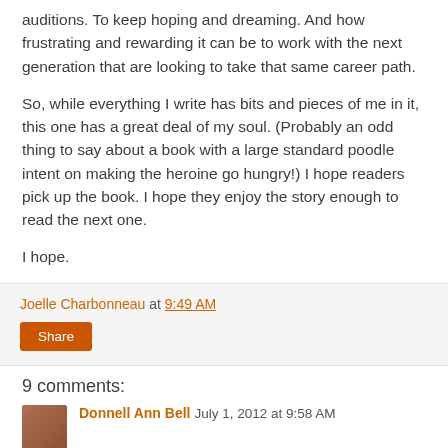auditions.  To keep hoping and dreaming.  And how frustrating and rewarding it can be to work with the next generation that are looking to take that same career path.
So, while everything I write has bits and pieces of me in it, this one has a great deal of my soul.  (Probably an odd thing to say about a book with a large standard poodle intent on making the heroine go hungry!)  I hope readers pick up the book.  I hope they enjoy the story enough to read the next one.
I hope.
Joelle Charbonneau at 9:49 AM
Share
9 comments:
Donnell Ann Bell  July 1, 2012 at 9:58 AM